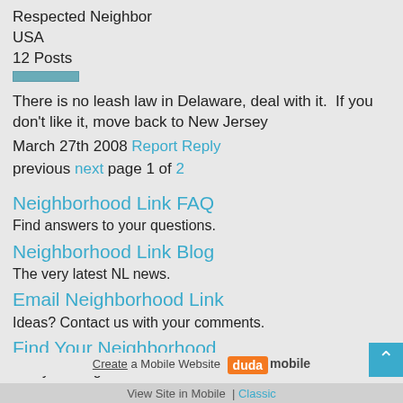Respected Neighbor
USA
12 Posts
There is no leash law in Delaware, deal with it.  If you don't like it, move back to New Jersey
March 27th 2008 Report Reply
previous next page 1 of 2
Neighborhood Link FAQ
Find answers to your questions.
Neighborhood Link Blog
The very latest NL news.
Email Neighborhood Link
Ideas? Contact us with your comments.
Find Your Neighborhood
Use your neighborhood's FREE site!
©1997 - 2022 Neighborhood Link, Inc. Our Terms of Use
Create a Mobile Website duda mobile
View Site in Mobile  |  Classic